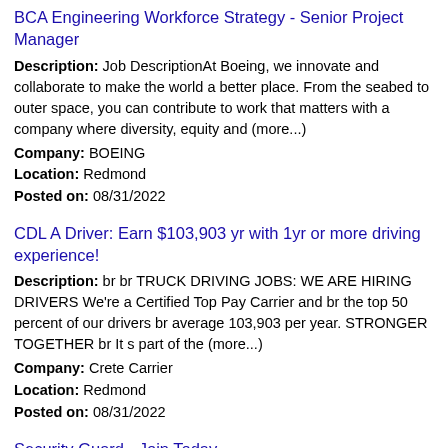BCA Engineering Workforce Strategy - Senior Project Manager
Description: Job DescriptionAt Boeing, we innovate and collaborate to make the world a better place. From the seabed to outer space, you can contribute to work that matters with a company where diversity, equity and (more...)
Company: BOEING
Location: Redmond
Posted on: 08/31/2022
CDL A Driver: Earn $103,903 yr with 1yr or more driving experience!
Description: br br TRUCK DRIVING JOBS: WE ARE HIRING DRIVERS We're a Certified Top Pay Carrier and br the top 50 percent of our drivers br average 103,903 per year. STRONGER TOGETHER br It s part of the (more...)
Company: Crete Carrier
Location: Redmond
Posted on: 08/31/2022
Security Guard - Join Today
Description: Concierge Security Officer br br We help make your world a safer place br br Securitas is a global company that offers the most advanced and sustainable security solutions in the